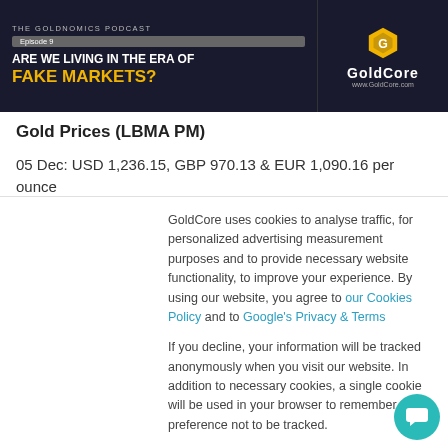[Figure (screenshot): GoldNomics Podcast banner - Episode 9: ARE WE LIVING IN THE ERA OF FAKE MARKETS? with GoldCore logo]
Gold Prices (LBMA PM)
05 Dec: USD 1,236.15, GBP 970.13 & EUR 1,090.16 per ounce
04 Dec: USD 1,239.25, GBP 966.74 & EUR 1,086.45 per
GoldCore uses cookies to analyse traffic, for personalized advertising measurement purposes and to provide necessary website functionality, to improve your experience. By using our website, you agree to our Cookies Policy and to Google's Privacy & Terms
If you decline, your information will be tracked anonymously when you visit our website. In addition to necessary cookies, a single cookie will be used in your browser to remember your preference not to be tracked.
Cookies settings | Accept All | Decline All